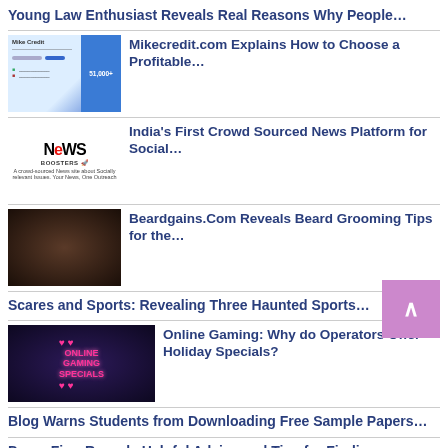Young Law Enthusiast Reveals Real Reasons Why People…
Mikecredit.com Explains How to Choose a Profitable…
India's First Crowd Sourced News Platform for Social…
Beardgains.Com Reveals Beard Grooming Tips for the…
Scares and Sports: Revealing Three Haunted Sports…
Online Gaming: Why do Operators Offer Holiday Specials?
Blog Warns Students from Downloading Free Sample Papers…
Dress Firm Reveals Helpful Advice and Tips for Finding…
More..